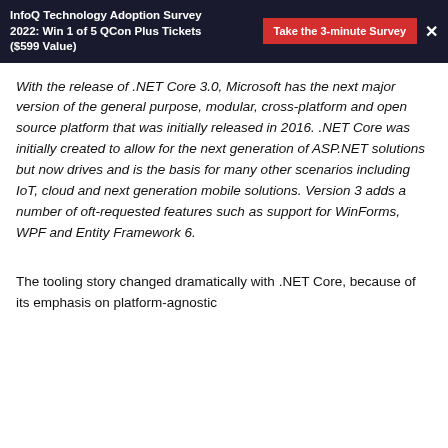InfoQ Technology Adoption Survey 2022: Win 1 of 5 QCon Plus Tickets ($599 Value)  Take the 3-minute Survey  ×
With the release of .NET Core 3.0, Microsoft has the next major version of the general purpose, modular, cross-platform and open source platform that was initially released in 2016. .NET Core was initially created to allow for the next generation of ASP.NET solutions but now drives and is the basis for many other scenarios including IoT, cloud and next generation mobile solutions. Version 3 adds a number of oft-requested features such as support for WinForms, WPF and Entity Framework 6.
The tooling story changed dramatically with .NET Core, because of its emphasis on platform-agnostic